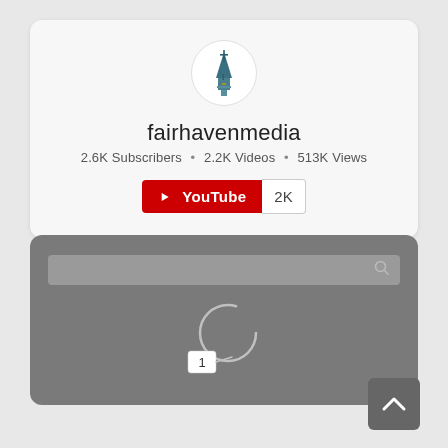[Figure (logo): Church tower / steeple logo icon in teal/blue color, inside a white circle]
fairhavenmedia
2.6K Subscribers • 2.2K Videos • 513K Views
[Figure (infographic): YouTube subscribe button in red with white play icon and 'YouTube' text, followed by a white bordered box showing '2K' subscriber count]
[Figure (screenshot): Gray panel with a search bar at top right with magnifying glass icon, and a loading spinner graphic with a small white box labeled '1' below it]
[Figure (other): Dark gray back-to-top button with white chevron/caret pointing up, in the lower right corner]